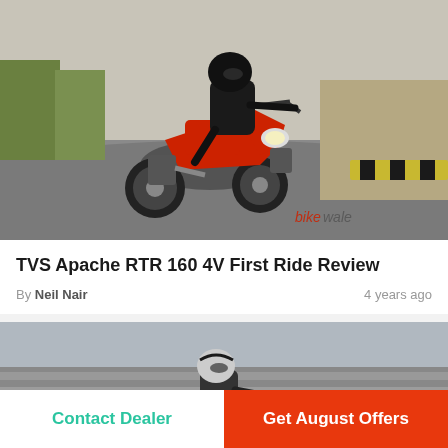[Figure (photo): Motorcycle (TVS Apache RTR 160 4V in red) leaning into a corner on a road, rider in black gear and helmet, with 'bikewale' watermark in bottom right corner. Shot from front angle.]
TVS Apache RTR 160 4V First Ride Review
By Neil Nair   4 years ago
[Figure (photo): Motorcycle rider in white/grey helmet and dark gear riding a motorcycle at speed on a road, blurred background indicating motion.]
Contact Dealer
Get August Offers